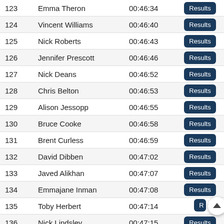| Rank | Name | Time | Action |
| --- | --- | --- | --- |
| 123 | Emma Theron | 00:46:34 | Results |
| 124 | Vincent Williams | 00:46:40 | Results |
| 125 | Nick Roberts | 00:46:43 | Results |
| 126 | Jennifer Prescott | 00:46:46 | Results |
| 127 | Nick Deans | 00:46:52 | Results |
| 128 | Chris Belton | 00:46:53 | Results |
| 129 | Alison Jessopp | 00:46:55 | Results |
| 130 | Bruce Cooke | 00:46:58 | Results |
| 131 | Brent Curless | 00:46:59 | Results |
| 132 | David Dibben | 00:47:02 | Results |
| 133 | Javed Alikhan | 00:47:07 | Results |
| 134 | Emmajane Inman | 00:47:08 | Results |
| 135 | Toby Herbert | 00:47:14 | Results (scroll overlay) |
| 136 | Nick Lindsley | 00:47:15 | Results |